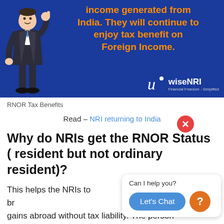[Figure (illustration): Advertisement banner with blue background showing a stick figure in a suit with thumbs up, orange text about income generated from India and tax benefit on Foreign Income, and wiseNRI logo with tagline Financial Freedom Simplified]
RNOR Tax Benefits
Read – NRI returning to India
Why do NRIs get the RNOR Status ( resident but not ordinary resident)?
This helps the NRIs to bring gains abroad without tax liability. The person with RNOR status does not have to pay tax on –